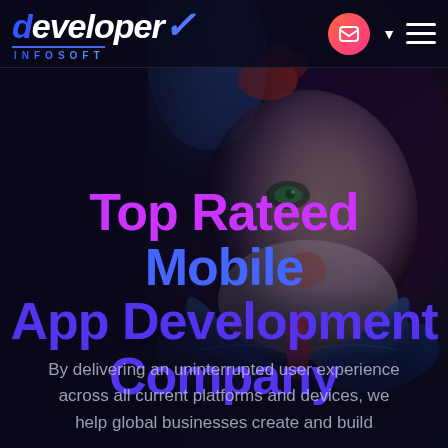[Figure (screenshot): Developer Infosoft website hero section with dark background and stylized face with butterfly photo on the right side]
Top Rateed Mobile App Development Company
By delivering an uninterrupted user experience across all current platforms and devices, we help global businesses create and build